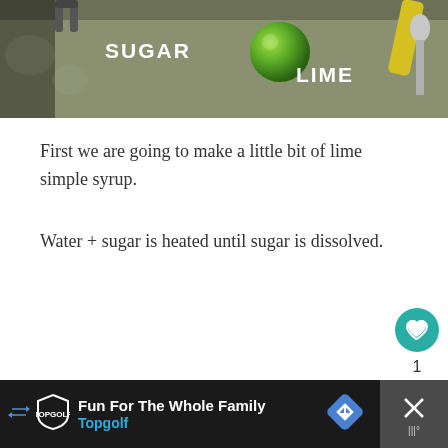[Figure (photo): Photo of cooking ingredients on concrete surface showing sugar and lime labeled with white text]
First we are going to make a little bit of lime simple syrup.
Water + sugar is heated until sugar is dissolved.
[Figure (other): Heart/like button (teal circle with heart icon), count '1', and share button]
Fun For The Whole Family Topgolf (advertisement)